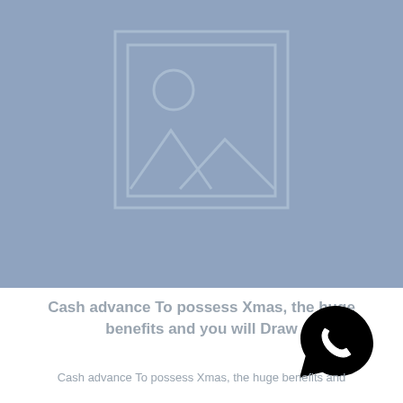[Figure (illustration): Placeholder image with grey-blue background showing a generic image icon (mountain landscape with sun circle) inside a double-bordered rectangle frame]
Cash advance To possess Xmas, the huge benefits and you will Draw
[Figure (logo): WhatsApp logo — white telephone handset inside a dark speech bubble on white background]
Cash advance To possess Xmas, the huge benefits and